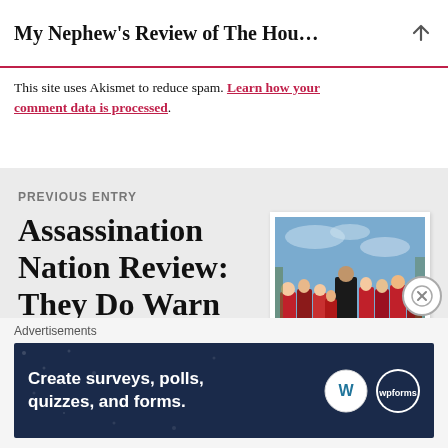My Nephew's Review of The Hou…
This site uses Akismet to reduce spam. Learn how your comment data is processed.
PREVIOUS ENTRY
Assassination Nation Review: They Do Warn You
[Figure (photo): Movie still from Assassination Nation showing a group of young women in red cloaks and outfits standing together outdoors]
Advertisements
[Figure (screenshot): Advertisement banner: Create surveys, polls, quizzes, and forms. With WordPress and WPForms logos on dark navy background.]